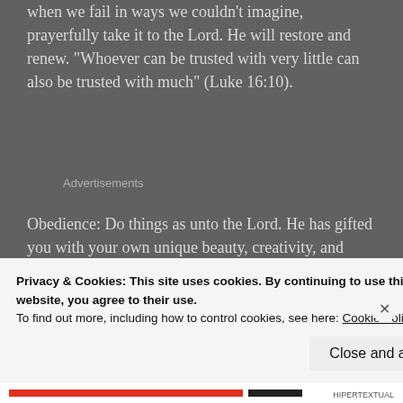when we fail in ways we couldn't imagine, prayerfully take it to the Lord.  He will restore and renew. "Whoever can be trusted with very little can also be trusted with much" (Luke 16:10).
Advertisements
Obedience:  Do things as unto the Lord.  He has gifted you with your own unique beauty, creativity, and voice to add to this world.  He longs to partner with you to
Privacy & Cookies: This site uses cookies. By continuing to use this website, you agree to their use.
To find out more, including how to control cookies, see here: Cookie Policy
Close and accept